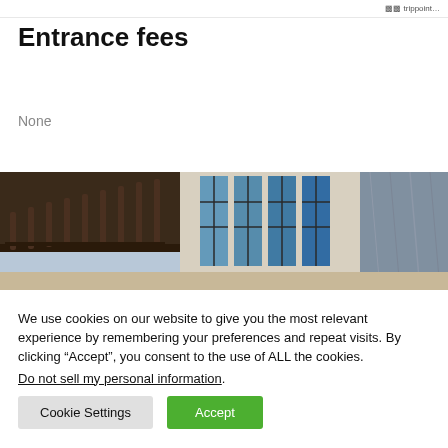trippoint...
Entrance fees
None
[Figure (photo): Interior photo of a building staircase with decorative railings and tall windows with blue-tinted light, and marble wall on the right]
We use cookies on our website to give you the most relevant experience by remembering your preferences and repeat visits. By clicking “Accept”, you consent to the use of ALL the cookies.
Do not sell my personal information.